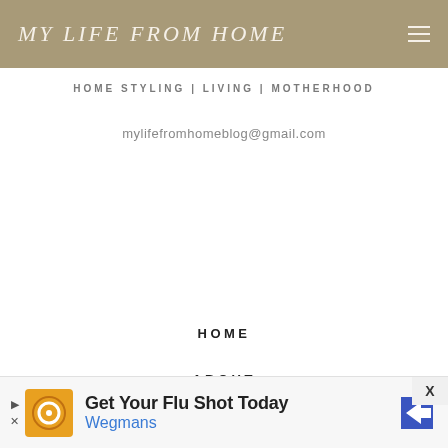MY LIFE FROM HOME
HOME STYLING | LIVING | MOTHERHOOD
mylifefromhomeblog@gmail.com
HOME
ABOUT
COLLABORATE
CONTACT
Get Your Flu Shot Today Wegmans